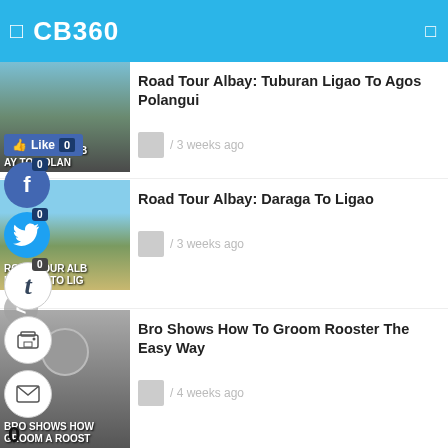CB360
[Figure (screenshot): Thumbnail image of road tour video: Road Tour Albay Tuburan Ligao To Polangui]
Road Tour Albay: Tuburan Ligao To Agos Polangui
/ 3 weeks ago
[Figure (screenshot): Thumbnail image of road tour video: Road Tour Albay Daraga To Ligao]
Road Tour Albay: Daraga To Ligao
/ 3 weeks ago
[Figure (screenshot): Thumbnail image: Bro Shows How To Groom A Rooster]
Bro Shows How To Groom Rooster The Easy Way
/ 4 weeks ago